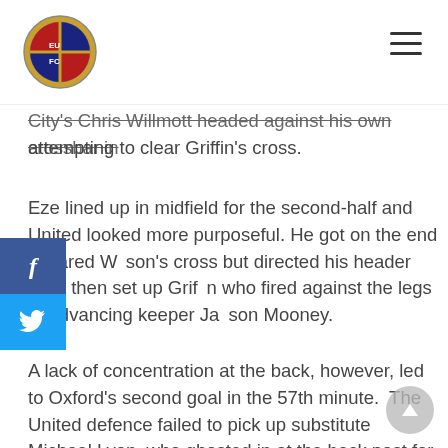Evesham United FC logo and navigation
City's Chris Willmott headed against his own crossbar in attempting to clear Griffin's cross.
Eze lined up in midfield for the second-half and United looked more purposeful. He got on the end of Jared Wilson's cross but directed his header wide then set up Griffin who fired against the legs of advancing keeper Jason Mooney.
A lack of concentration at the back, however, led to Oxford's second goal in the 57th minute.  The United defence failed to pick up substitute Michael Lyon, who ghosted in at the back post for a simple tap-in.
Evesham worked hard to get back into the game and Griffin again went close, having his drive deflected behind with Mooney beaten.